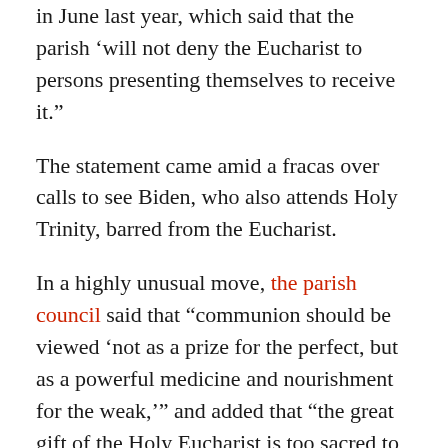in June last year, which said that the parish 'will not deny the Eucharist to persons presenting themselves to receive it.'
The statement came amid a fracas over calls to see Biden, who also attends Holy Trinity, barred from the Eucharist.
In a highly unusual move, the parish council said that “communion should be viewed ‘not as a prize for the perfect, but as a powerful medicine and nourishment for the weak,’” and added that “the great gift of the Holy Eucharist is too sacred to be made a political issue.”
[Figure (other): Red button labeled 'Leave a comment']
The Church’s canon law says that Catholics who